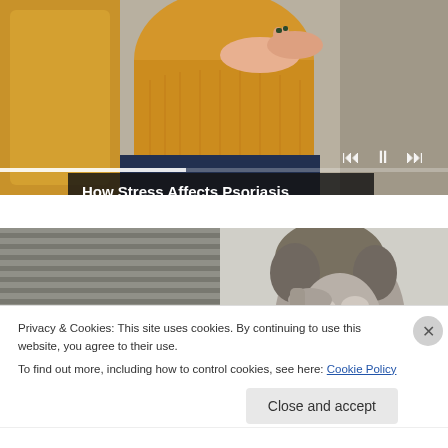[Figure (screenshot): Video player showing a person in a yellow/mustard sweater sitting on a couch, scratching their arm. Playback controls (skip back, pause, skip forward) are visible in the lower right. A progress bar is shown at the bottom. A title overlay reads 'How Stress Affects Psoriasis'.]
How Stress Affects Psoriasis
[Figure (photo): Black and white photograph of a person with curly hair touching their face/eye area, with window blinds visible in the background.]
Privacy & Cookies: This site uses cookies. By continuing to use this website, you agree to their use.
To find out more, including how to control cookies, see here: Cookie Policy